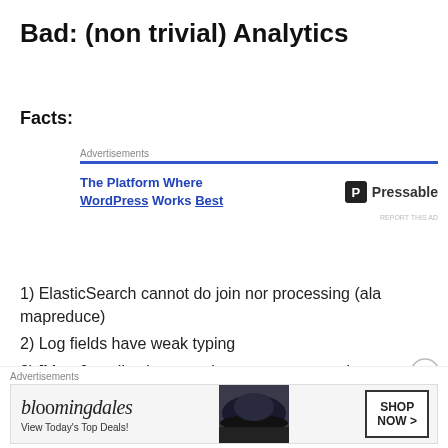Bad: (non trivial) Analytics
Facts:
[Figure (other): Pressable advertisement banner: 'The Platform Where WordPress Works Best' with Pressable logo]
1) ElasticSearch cannot do join nor processing (ala mapreduce)
2) Log fields have weak typing
3) [Many] applications send erroneous or poorly formatted data (e.g. nginx)
[Figure (other): Bloomingdale's advertisement: 'View Today's Top Deals!' with SHOP NOW button]